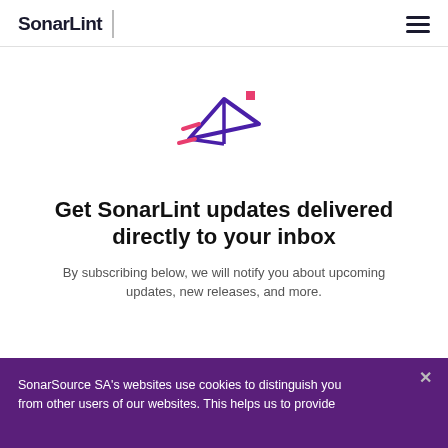SonarLint
[Figure (logo): SonarLint paper airplane icon with pink accent lines and red corner markers, in purple/violet color]
Get SonarLint updates delivered directly to your inbox
By subscribing below, we will notify you about upcoming updates, new releases, and more.
SonarSource SA's websites use cookies to distinguish you from other users of our websites. This helps us to provide